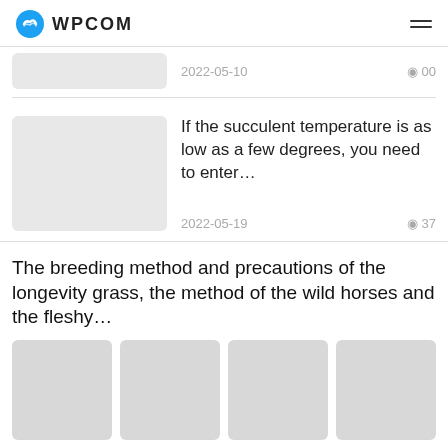WPCOM
2022-05-10  ◎ 00
If the succulent temperature is as low as a few degrees, you need to enter…
2022-05-19  ◎ 37
The breeding method and precautions of the longevity grass, the method of the wild horses and the fleshy…
[Figure (photo): Four placeholder gray image boxes in a horizontal strip]
2022-05-19 • succulent plants  ◎ 30
How to repair the root, how to repair the root of the meat?